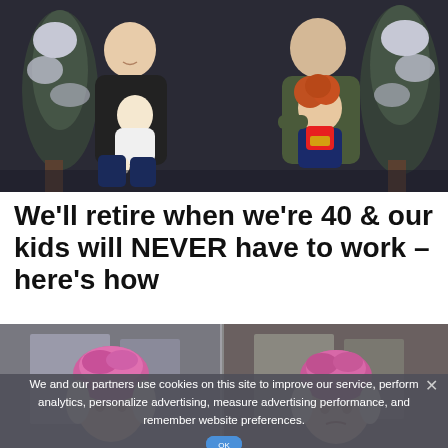[Figure (photo): Family photo showing two adults and two children posed in front of snowy white Christmas trees. One adult holds a sleeping baby in white clothing, the other adult sits next to a young girl with curly red hair wearing a Santa outfit.]
We'll retire when we're 40 & our kids will NEVER have to work – here's how
[Figure (screenshot): Two side-by-side video thumbnail frames showing a woman wearing a colorful pink knitted hat/headwrap, appearing to be from a news segment or interview.]
We and our partners use cookies on this site to improve our service, perform analytics, personalize advertising, measure advertising performance, and remember website preferences.